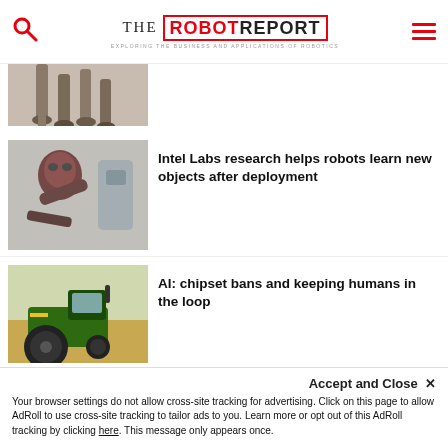THE ROBOT REPORT — EXPLORING THE BUSINESS AND APPLICATIONS OF ROBOTICS
[Figure (photo): Partial view of robot legs on carpet, cropped at top]
[Figure (photo): Humanoid robot arm/torso with another robot in background laboratory setting]
Intel Labs research helps robots learn new objects after deployment
[Figure (photo): Green John Deere tractor in agricultural field]
AI: chipset bans and keeping humans in the loop
Accept and Close ✕
Your browser settings do not allow cross-site tracking for advertising. Click on this page to allow AdRoll to use cross-site tracking to tailor ads to you. Learn more or opt out of this AdRoll tracking by clicking here. This message only appears once.